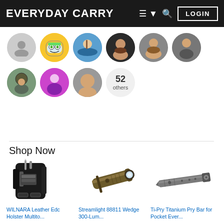EVERYDAY CARRY   LOGIN
[Figure (illustration): Grid of circular user avatar photos, 9 visible avatars plus a circle showing '52 others']
Shop Now
[Figure (photo): WILNARA Leather Edc Holster Multitool product photo - black leather holster with tools]
WILNARA Leather Edc Holster Multito...
$19.99 prime
[Figure (photo): Streamlight 88811 Wedge 300-Lum product photo - olive/tan colored slim flashlight]
Streamlight 88811 Wedge 300-Lum...
$84.11 prime
[Figure (photo): Ti-Pry Titanium Pry Bar for Pocket Ever product photo - metallic pry bar tool]
Ti-Pry Titanium Pry Bar for Pocket Ever...
$53.95 prime